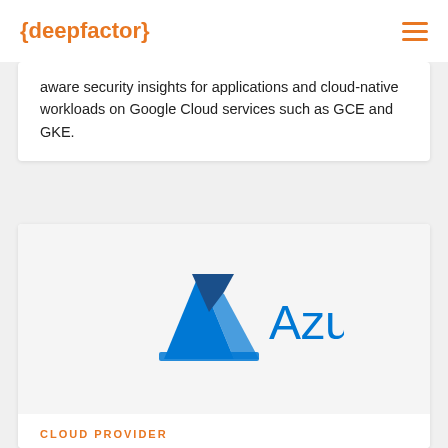{deepfactor}
aware security insights for applications and cloud-native workloads on Google Cloud services such as GCE and GKE.
[Figure (logo): Microsoft Azure logo — blue triangle/chevron icon with the word 'Azure' in blue text]
CLOUD PROVIDER